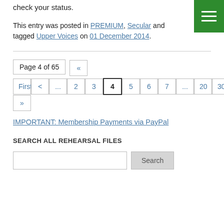check your status.
This entry was posted in PREMIUM, Secular and tagged Upper Voices on 01 December 2014.
Page 4 of 65  «  First  <  ...  2  3  4  5  6  7  ...  20  30  40  50  60  »
IMPORTANT: Membership Payments via PayPal
SEARCH ALL REHEARSAL FILES
Search